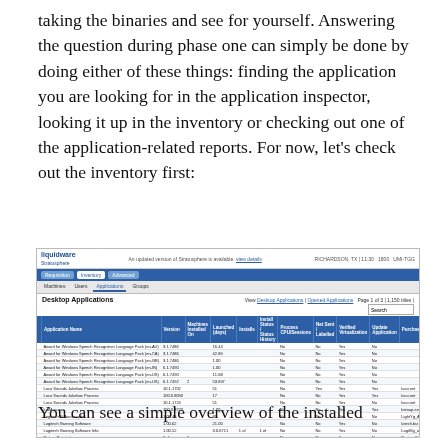taking the binaries and see for yourself. Answering the question during phase one can simply be done by doing either of these things: finding the application you are looking for in the application inspector, looking it up in the inventory or checking out one of the application-related reports. For now, let's check out the inventory first:
[Figure (screenshot): Liquidware Stratusphere Desktop Applications inventory screenshot showing a table of installed applications with columns for Application Name, Version, Machines Installed On, Launched, Installs, Install Status, Process CPU/Sessions, Net Sent/Labelled, Verified Virtualization, Update Application, and Purchase.]
You can see a simple overview of the installed